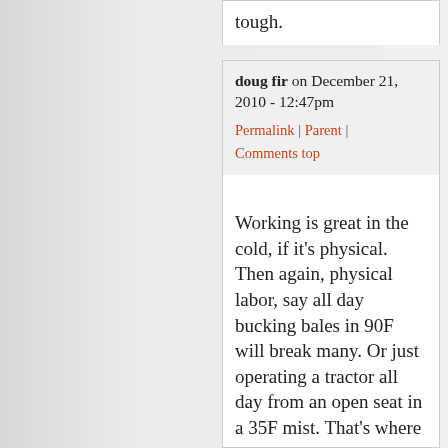tough.
doug fir on December 21, 2010 - 12:47pm
Permalink | Parent | Comments top
Working is great in the cold, if it's physical. Then again, physical labor, say all day bucking bales in 90F will break many. Or just operating a tractor all day from an open seat in a 35F mist. That's where you wish you were still horseback, at least half of you stays comfortable.

It's all relative, most often we can't choose our temperature and activity outside. But